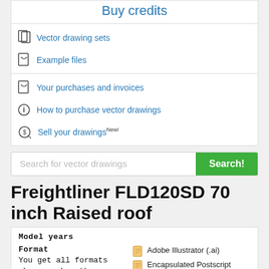Buy credits
Vector drawing sets
Example files
Your purchases and invoices
How to purchase vector drawings
Sell your drawings New!
Search for vector drawings
Freightliner FLD120SD 70 inch Raised roof
Model years
Format
You get all formats when you buy the drawing.
Adobe Illustrator (.ai)
Encapsulated Postscript (.eps)
Portable Document Format